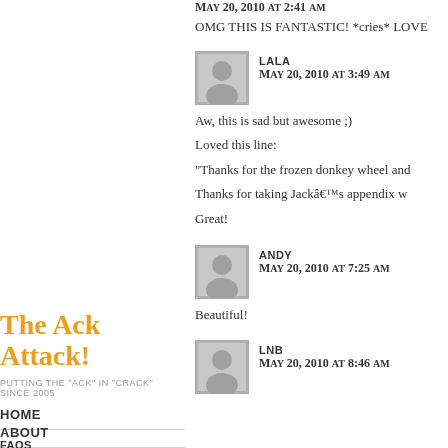May 20, 2010 at 2:41 am
OMG THIS IS FANTASTIC! *cries* LOVE
LALA
May 20, 2010 at 3:49 am
Aw, this is sad but awesome ;)
Loved this line:
“Thanks for the frozen donkey wheel and
Thanks for taking Jackâ€™s appendix w
Great!
Andy
May 20, 2010 at 7:25 am
Beautiful!
LNB
May 20, 2010 at 8:46 am
The Ack Attack!
PUTTING THE "ACK" IN "CRACK" SINCE 2005
HOME
ABOUT
FAQS
LOST RECAPS
FEED